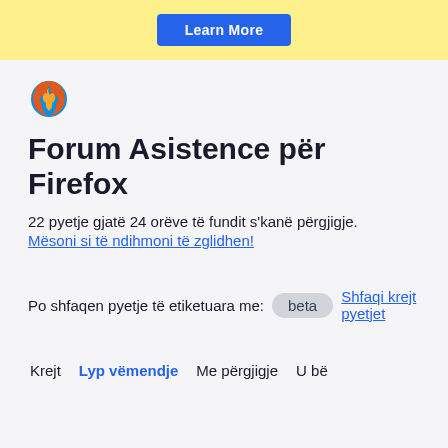[Figure (other): Yellow banner with 'Learn More' blue button]
[Figure (logo): Firefox browser logo (flame and globe icon)]
Forum Asistence për Firefox
22 pyetje gjatë 24 orëve të fundit s'kanë përgjigje.
Mësoni si të ndihmoni të zglidhen!
Po shfaqen pyetje të etiketuara me: beta  Shfaqi krejt pyetjet
Krejt  Lyp vëmendje  Me përgjigje  U bë